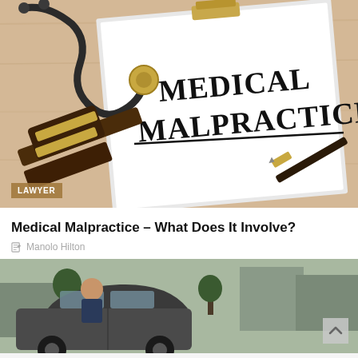[Figure (photo): Photo of a clipboard with 'Medical Malpractice' written on paper, a judge's gavel, a stethoscope, and a pen arranged on a wooden surface. A 'LAWYER' category tag is overlaid in the bottom-left corner.]
Medical Malpractice – What Does It Involve?
Manolo Hilton
[Figure (photo): Partial photo showing a person near a car, outdoor setting.]